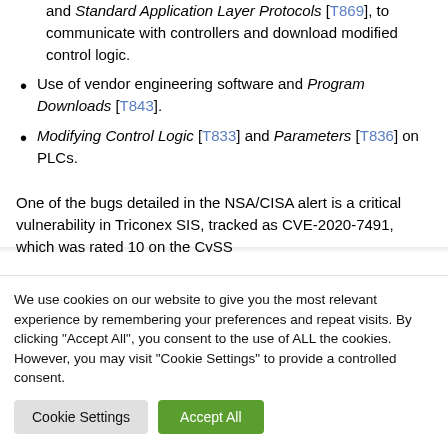and Standard Application Layer Protocols [T869], to communicate with controllers and download modified control logic.
Use of vendor engineering software and Program Downloads [T843].
Modifying Control Logic [T833] and Parameters [T836] on PLCs.
One of the bugs detailed in the NSA/CISA alert is a critical vulnerability in Triconex SIS, tracked as CVE-2020-7491, which was rated 10 on the CvSS
We use cookies on our website to give you the most relevant experience by remembering your preferences and repeat visits. By clicking "Accept All", you consent to the use of ALL the cookies. However, you may visit "Cookie Settings" to provide a controlled consent.